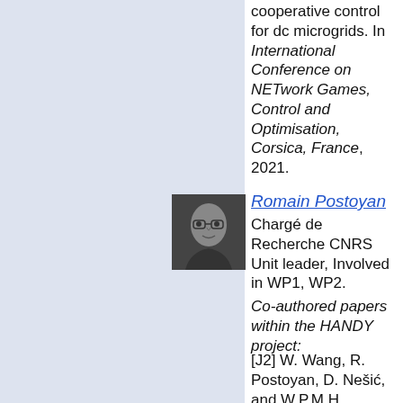cooperative control for dc microgrids. In International Conference on NETwork Games, Control and Optimisation, Corsica, France, 2021.
Romain Postoyan
Chargé de Recherche CNRS
Unit leader, Involved in WP1, WP2.
[Figure (photo): Black and white headshot photo of Romain Postoyan, a man wearing glasses]
Co-authored papers within the HANDY project:
[J2] W. Wang, R. Postoyan, D. Nešić, and W.P.M.H. Heemels. Periodic event-triggered control for